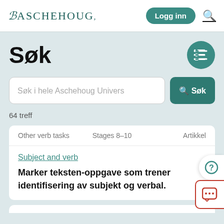Aschehoug   Logg inn
Søk
Søk i hele Aschehoug Univers
64 treff
| Other verb tasks | Stages 8–10 | Artikkel |
| --- | --- | --- |
Subject and verb
Marker teksten-oppgave som trener identifisering av subjekt og verbal.